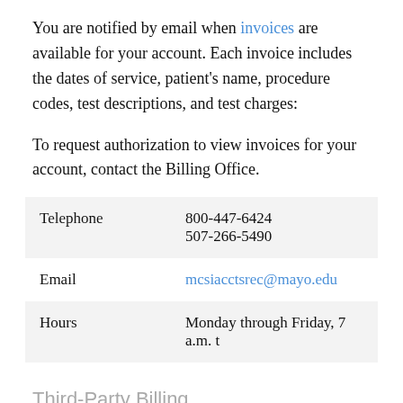You are notified by email when invoices are available for your account. Each invoice includes the dates of service, patient's name, procedure codes, test descriptions, and test charges:
To request authorization to view invoices for your account, contact the Billing Office.
|  |  |
| --- | --- |
| Telephone | 800-447-6424
507-266-5490 |
| Email | mcsiacctsrec@mayo.edu |
| Hours | Monday through Friday, 7 a.m. t |
Third-Party Billing
In some cases, Mayo Clinic Laboratories can bill the